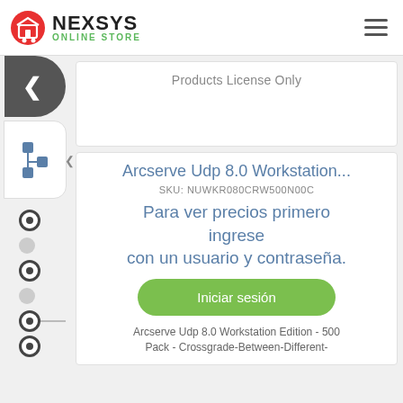NEXSYS ONLINE STORE
Products License Only
Arcserve Udp 8.0 Workstation...
SKU: NUWKR080CRW500N00C
Para ver precios primero ingrese con un usuario y contraseña.
Iniciar sesión
Arcserve Udp 8.0 Workstation Edition - 500 Pack - Crossgrade-Between-Different-